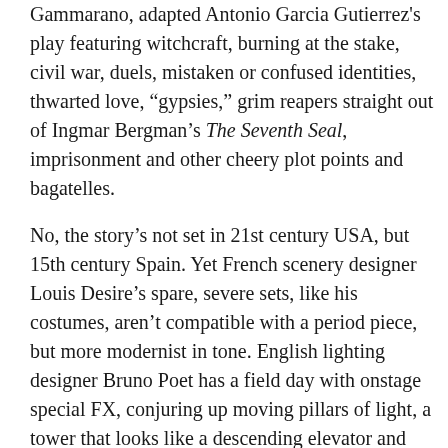Gammarano, adapted Antonio Garcia Gutierrez's play featuring witchcraft, burning at the stake, civil war, duels, mistaken or confused identities, thwarted love, “gypsies,” grim reapers straight out of Ingmar Bergman’s The Seventh Seal, imprisonment and other cheery plot points and bagatelles.
No, the story’s not set in 21st century USA, but 15th century Spain. Yet French scenery designer Louis Desire’s spare, severe sets, like his costumes, aren’t compatible with a period piece, but more modernist in tone. English lighting designer Bruno Poet has a field day with onstage special FX, conjuring up moving pillars of light, a tower that looks like a descending elevator and enough flames to make this reviewer relieved to be sitting near an exit.
What uplifts Il Trovatore – which translated from